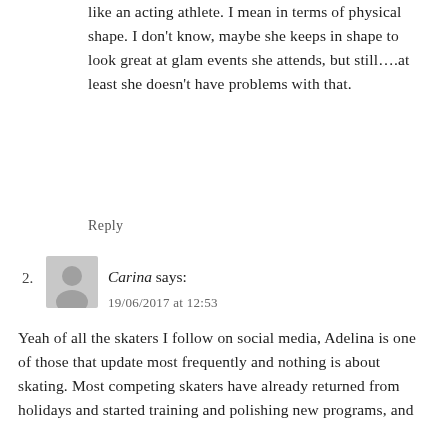like an acting athlete. I mean in terms of physical shape. I don't know, maybe she keeps in shape to look great at glam events she attends, but still….at least she doesn't have problems with that.
Reply
Carina says:
19/06/2017 at 12:53
Yeah of all the skaters I follow on social media, Adelina is one of those that update most frequently and nothing is about skating. Most competing skaters have already returned from holidays and started training and polishing new programs, and